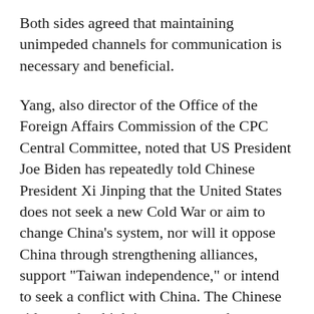Both sides agreed that maintaining unimpeded channels for communication is necessary and beneficial.
Yang, also director of the Office of the Foreign Affairs Commission of the CPC Central Committee, noted that US President Joe Biden has repeatedly told Chinese President Xi Jinping that the United States does not seek a new Cold War or aim to change China's system, nor will it oppose China through strengthening alliances, support "Taiwan independence," or intend to seek a conflict with China. The Chinese side attaches high importance to these statements, he said.
For some time, however, the US side has been insisting on further containing and suppressing China in an all-round way. Such acts, instead of helping the